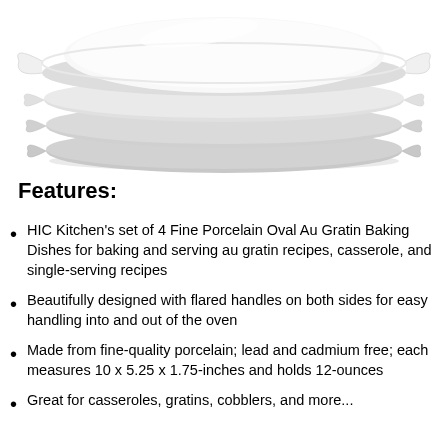[Figure (photo): Stack of four white fine porcelain oval au gratin baking dishes with flared handles on both sides, viewed from a slight angle.]
Features:
HIC Kitchen's set of 4 Fine Porcelain Oval Au Gratin Baking Dishes for baking and serving au gratin recipes, casserole, and single-serving recipes
Beautifully designed with flared handles on both sides for easy handling into and out of the oven
Made from fine-quality porcelain; lead and cadmium free; each measures 10 x 5.25 x 1.75-inches and holds 12-ounces
Great for casseroles, gratins, cobblers, and more...